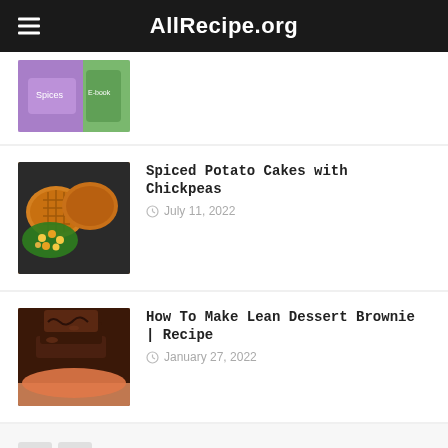AllRecipe.org
[Figure (photo): Partial thumbnail of a product image showing purple and green packaging]
Spiced Potato Cakes with Chickpeas
July 11, 2022
[Figure (photo): Photo of spiced potato cakes with chickpea topping]
How To Make Lean Dessert Brownie | Recipe
January 27, 2022
[Figure (photo): Photo of chocolate brownies on a plate]
Recommended For You